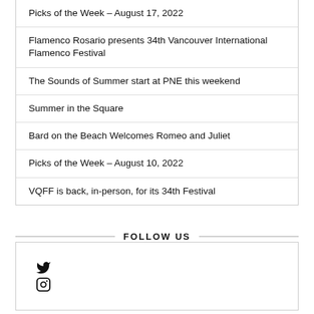Picks of the Week – August 17, 2022
Flamenco Rosario presents 34th Vancouver International Flamenco Festival
The Sounds of Summer start at PNE this weekend
Summer in the Square
Bard on the Beach Welcomes Romeo and Juliet
Picks of the Week – August 10, 2022
VQFF is back, in-person, for its 34th Festival
FOLLOW US
[Figure (other): Social media icons: Twitter bird icon and Instagram camera icon]